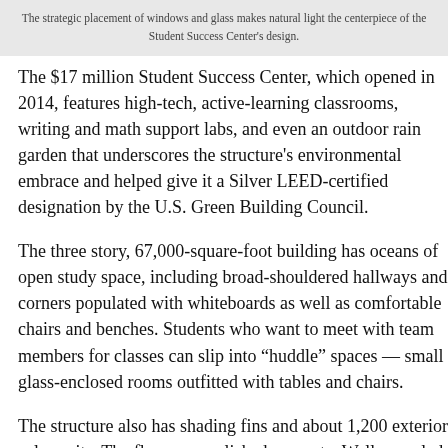The strategic placement of windows and glass makes natural light the centerpiece of the Student Success Center's design.
The $17 million Student Success Center, which opened in 2014, features high-tech, active-learning classrooms, writing and math support labs, and even an outdoor rain garden that underscores the structure's environmental embrace and helped give it a Silver LEED-certified designation by the U.S. Green Building Council.
The three story, 67,000-square-foot building has oceans of open study space, including broad-shouldered hallways and corners populated with whiteboards as well as comfortable chairs and benches. Students who want to meet with team members for classes can slip into “huddle” spaces — small glass-enclosed rooms outfitted with tables and chairs.
The structure also has shading fins and about 1,200 exterior solar units. The floors are polished concrete. Walls are clad in porcelain ceramic tile. The top floor offers a sweeping view of central campus.
Annette Miller Architects generated several concepts for the